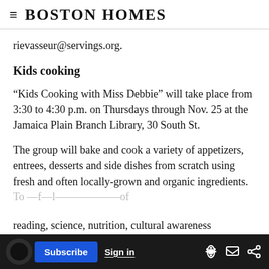Boston Homes
rievasseur@servings.org.
Kids cooking
“Kids Cooking with Miss Debbie” will take place from 3:30 to 4:30 p.m. on Thursdays through Nov. 25 at the Jamaica Plain Branch Library, 30 South St.
The group will bake and cook a variety of appetizers, entrees, desserts and side dishes from scratch using fresh and often locally-grown and organic ingredients.
To… for learning the importance of reading, science, nutrition, cultural awareness